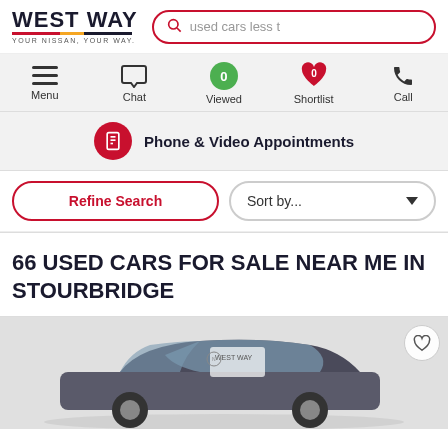[Figure (screenshot): West Way Nissan website header with logo and search bar]
[Figure (screenshot): Navigation bar with Menu, Chat, Viewed (0), Shortlist (0), Call icons]
[Figure (screenshot): Phone & Video Appointments banner]
[Figure (screenshot): Refine Search and Sort by filter buttons]
66 USED CARS FOR SALE NEAR ME IN STOURBRIDGE
[Figure (photo): Partial view of a used car listing with West Way branding on windscreen, heart/shortlist button visible]